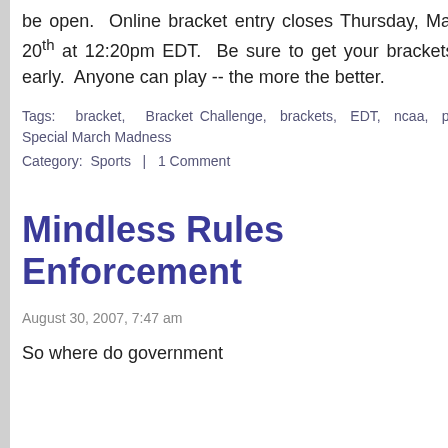be open.  Online bracket entry closes Thursday, March 20th at 12:20pm EDT.  Be sure to get your brackets in early.  Anyone can play -- the more the better.
Tags:  bracket,  Bracket Challenge,  brackets,  EDT,  ncaa,  pool,  Special March Madness
Category:  Sports  |  1 Comment
Mindless Rules Enforcement
August 30, 2007, 7:47 am
So where do government